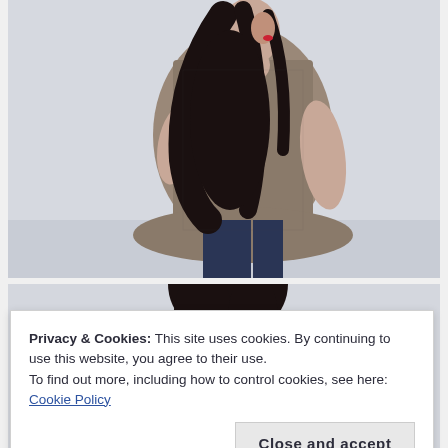[Figure (photo): Woman wearing a flowy knit peplum top in a grey/brown speckled pattern, shown from behind, with long dark hair, paired with dark jeans. Light grey background.]
[Figure (photo): Partial view of a second photo showing a woman with dark hair from above waist, wearing a similar knit garment. Light grey background.]
Privacy & Cookies: This site uses cookies. By continuing to use this website, you agree to their use.
To find out more, including how to control cookies, see here: Cookie Policy
Close and accept